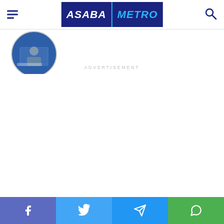ASABA METRO - navigation header with hamburger menu, logo, and search icon
[Figure (photo): Circular cropped photo of a person at what appears to be a conference or press event, partially visible at top-left below header]
ADVERTISEMENT
[Figure (other): Empty advertisement placeholder area]
Social share bar with Facebook, Twitter, Telegram, and WhatsApp icons